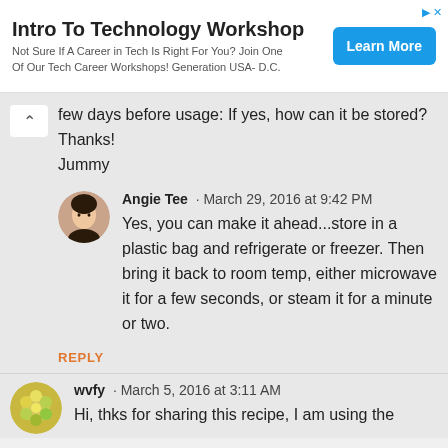[Figure (other): Advertisement banner for 'Intro To Technology Workshop' with a blue 'Learn More' button]
few days before usage: If yes, how can it be stored? Thanks!
Jummy
Angie Tee · March 29, 2016 at 9:42 PM
Yes, you can make it ahead...store in a plastic bag and refrigerate or freezer. Then bring it back to room temp, either microwave it for a few seconds, or steam it for a minute or two.
REPLY
wvfy · March 5, 2016 at 3:11 AM
Hi, thks for sharing this recipe, I am using the